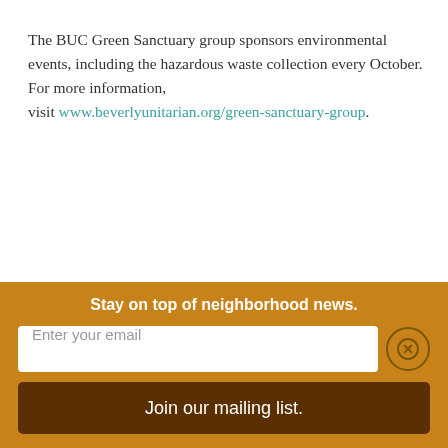The BUC Green Sanctuary group sponsors environmental events, including the hazardous waste collection every October.  For more information, visit www.beverlyunitarian.org/green-sanctuary-group.
[Figure (other): Social share buttons: Facebook (dark blue rounded square with f icon) and Twitter (light blue rounded square with bird icon), with two more partially visible buttons below]
Share:
Stay on top of neighborhood news.
Enter your email
Join our mailing list.